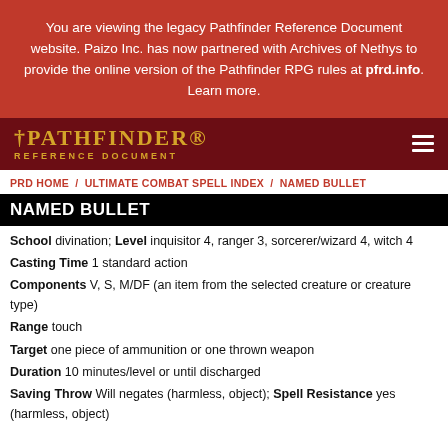You are viewing the legacy Pathfinder Reference Document website. Paizo Inc. has now partnered with Archives of Nethys to provide the online version of the Pathfinder RPG rules at pfrd.info. Learn more.
PATHFINDER REFERENCE DOCUMENT
PRD HOME / ULTIMATE COMBAT SPELL INDEX / NAMED BULLET
NAMED BULLET
School divination; Level inquisitor 4, ranger 3, sorcerer/wizard 4, witch 4
Casting Time 1 standard action
Components V, S, M/DF (an item from the selected creature or creature type)
Range touch
Target one piece of ammunition or one thrown weapon
Duration 10 minutes/level or until discharged
Saving Throw Will negates (harmless, object); Spell Resistance yes (harmless, object)